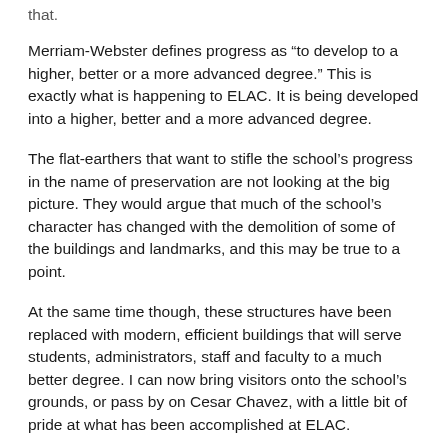that.
Merriam-Webster defines progress as “to develop to a higher, better or a more advanced degree.” This is exactly what is happening to ELAC. It is being developed into a higher, better and a more advanced degree.
The flat-earthers that want to stifle the school’s progress in the name of preservation are not looking at the big picture. They would argue that much of the school’s character has changed with the demolition of some of the buildings and landmarks, and this may be true to a point.
At the same time though, these structures have been replaced with modern, efficient buildings that will serve students, administrators, staff and faculty to a much better degree. I can now bring visitors onto the school’s grounds, or pass by on Cesar Chavez, with a little bit of pride at what has been accomplished at ELAC.
The Performing and Fine Arts facility is a gem of a complex. What fine arts student would not feel pride in learning or plying their trade in such a beautiful, modern building?
The E1 complex and G1 Administration building are state-of-the-art facilities that have replaced dated, inefficient eye-sores that